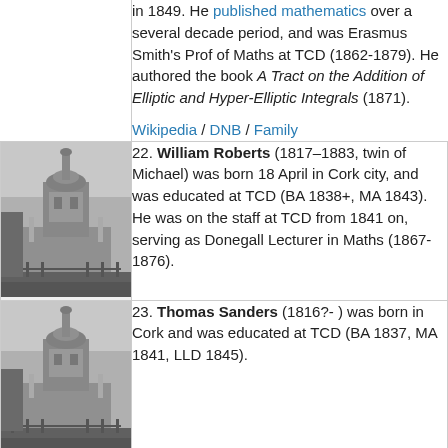in 1849. He published mathematics over a several decade period, and was Erasmus Smith's Prof of Maths at TCD (1862-1879). He authored the book A Tract on the Addition of Elliptic and Hyper-Elliptic Integrals (1871). Wikipedia / DNB / Family
[Figure (photo): Black and white photo of a building tower/campanile, likely Trinity College Dublin]
22. William Roberts (1817–1883, twin of Michael) was born 18 April in Cork city, and was educated at TCD (BA 1838+, MA 1843). He was on the staff at TCD from 1841 on, serving as Donegall Lecturer in Maths (1867-1876).
[Figure (photo): Black and white photo of a building tower/campanile, likely Trinity College Dublin]
23. Thomas Sanders (1816?- ) was born in Cork and was educated at TCD (BA 1837, MA 1841, LLD 1845).
[Figure (photo): Black and white photo of a building tower/campanile, likely Trinity College Dublin (partial)]
24. George Salmon (1819-1904) was born